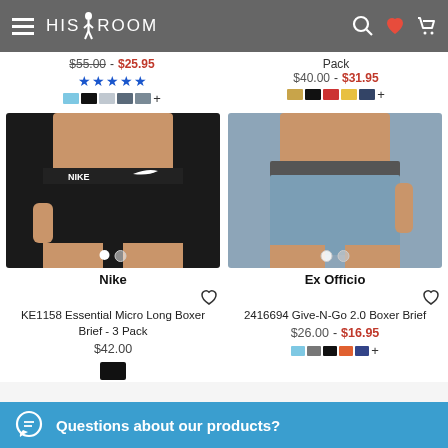HIS ROOM - navigation header
$55.00 - $25.95 (strikethrough/sale price, top left)
Pack - $40.00 - $31.95 (top right)
[Figure (photo): Nike boxer briefs black with Nike waistband, male model]
Nike
KE1158 Essential Micro Long Boxer Brief - 3 Pack
$42.00
[Figure (photo): Ex Officio Give-N-Go 2.0 Boxer Brief in blue/grey, male model]
Ex Officio
2416694 Give-N-Go 2.0 Boxer Brief
$26.00 - $16.95
Questions about our products?